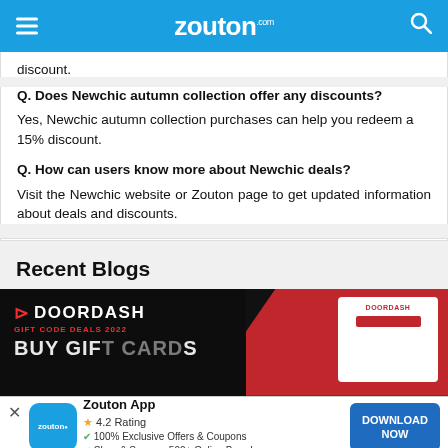zouton.com
discount.
Q. Does Newchic autumn collection offer any discounts?
Yes, Newchic autumn collection purchases can help you redeem a 15% discount.
Q. How can users know more about Newchic deals?
Visit the Newchic website or Zouton page to get updated information about deals and discounts.
Recent Blogs
[Figure (screenshot): DoorDash Gift Code Deals 2022 blog banner with black and red background, DoorDash logo and card]
Zouton App - 4.2 Rating - 100% Exclusive Offers & Coupons - Shop & Save on 500+ Online Brands - DOWNLOAD NOW